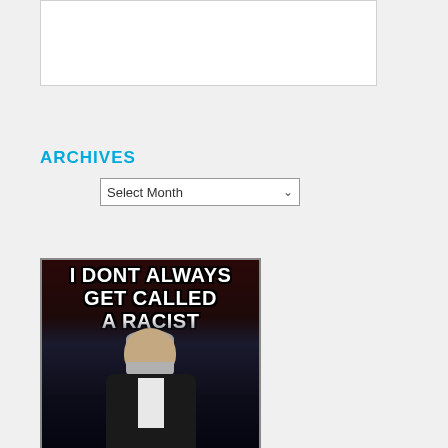[Figure (screenshot): White rectangular box at top of page, partial content area]
ARCHIVES
[Figure (screenshot): Select Month dropdown widget]
[Figure (photo): Meme image with text 'I DONT ALWAYS GET CALLED A RACIST' over a photo of a man in a suit holding a drink glass]